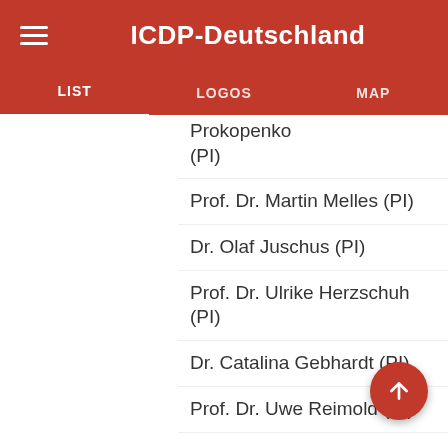ICDP-Deutschland
LIST | LOGOS | MAP
Prokopenko (PI)
Prof. Dr. Martin Melles (PI)
Dr. Olaf Juschus (PI)
Prof. Dr. Ulrike Herzschuh (PI)
Dr. Catalina Gebhardt (PI)
Prof. Dr. Uwe Reimold (PI)
Dr. Geo Schwambom (PI)